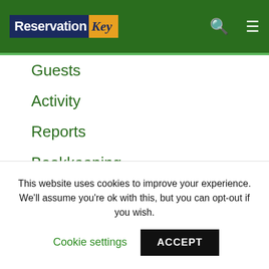Reservation Key
Guests
Activity
Reports
Bookkeeping
Website Tab
VIDEOS: Website Tab
Reservation Pages
Themes
Website Messages
Payment Methods
This website uses cookies to improve your experience. We'll assume you're ok with this, but you can opt-out if you wish.
Cookie settings
ACCEPT